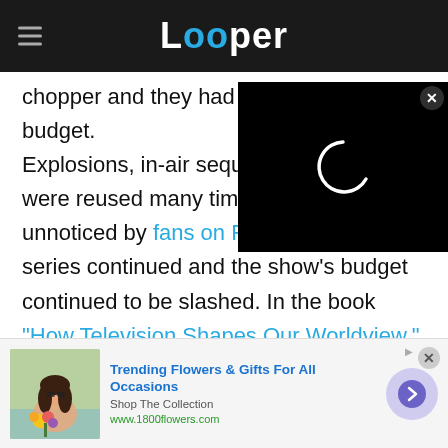Looper
chopper and they had a pretty skimpy budget. Explosions, in-air sequences, were reused many times over, unnoticed by fans on Reddit. series continued and the show's budget continued to be slashed. In the book "How Television Shapes Our Worldview," which mostly focuses on how TV portrays the military, "Airwolf" is mentioned prominently. The book highlights its disastrous fourth season, noting how a huge budget cut left
[Figure (screenshot): Video player overlay with loading spinner on black background]
[Figure (other): Advertisement for 1800flowers.com - Trending Flowers & Gifts For All Occasions]